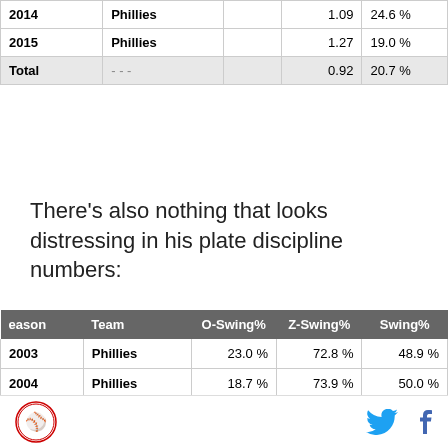| Season | Team |  | BB/K | BB% |
| --- | --- | --- | --- | --- |
| 2014 | Phillies |  | 1.09 | 24.6 % |
| 2015 | Phillies |  | 1.27 | 19.0 % |
| Total | - - - |  | 0.92 | 20.7 % |
There's also nothing that looks distressing in his plate discipline numbers:
| Season | Team | O-Swing% | Z-Swing% | Swing% |
| --- | --- | --- | --- | --- |
| 2003 | Phillies | 23.0 % | 72.8 % | 48.9 % |
| 2004 | Phillies | 18.7 % | 73.9 % | 50.0 % |
| 2005 | Phillies | 20.2 % | 60.8 % | 41.0 % |
| 2006 | Phillies | 22.4 % | 64.0 % | 43.9 % |
| 2007 | Phillies | 22.3 % | 60.4 % | 42.1 % |
| 2008 | Phillies | 25.1 % | 62.7 % | 44.0 % |
| 2009 | Phillies | 19.1 % | 57.9 % | 37.0 % |
| 2010 | Phillies | 25.5 % | 57.8 % | 39.3 % |
Logo and social media icons